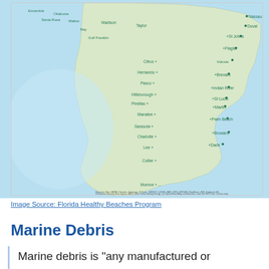[Figure (map): Map of Florida counties showing coastal areas along the Gulf of Mexico and Atlantic Ocean. County names labeled include Nassau, Duval, St Johns, Flagler, Volusia, Citrus, Hernando, Pasco, Hillsborough, Pinellas, Manatee, Sarasota, Charlotte, Lee, Collier, Broward, Dade/Miami-Dade, Monroe, Palm Beach, Martin, St Lucie, Indian River, Brevard, Escambia, Okaloosa, Santa Rosa, Walton, Bay, Gulf, Franklin, Madison, Taylor. The Gulf of Mexico is shown in light blue on the left and bottom.]
Image Source: Florida Healthy Beaches Program
Marine Debris
Marine debris is "any manufactured or